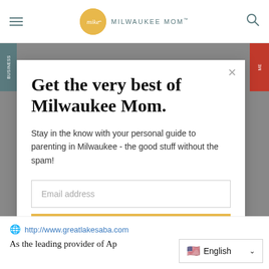Milwaukee Mom
Get the very best of Milwaukee Mom.
Stay in the know with your personal guide to parenting in Milwaukee - the good stuff without the spam!
Email address
Subscribe
http://www.greatlakesaba.com
As the leading provider of Ap...
English